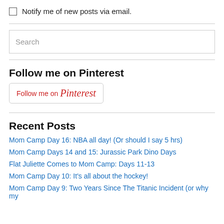Notify me of new posts via email.
[Figure (other): Search input box with placeholder text 'Search']
Follow me on Pinterest
[Figure (other): Follow me on Pinterest button with Pinterest logo text]
Recent Posts
Mom Camp Day 16: NBA all day! (Or should I say 5 hrs)
Mom Camp Days 14 and 15: Jurassic Park Dino Days
Flat Juliette Comes to Mom Camp: Days 11-13
Mom Camp Day 10: It's all about the hockey!
Mom Camp Day 9: Two Years Since The Titanic Incident (or why my